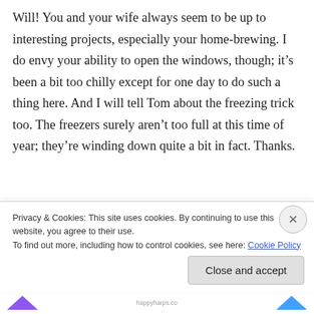Will! You and your wife always seem to be up to interesting projects, especially your home-brewing. I do envy your ability to open the windows, though; it's been a bit too chilly except for one day to do such a thing here. And I will tell Tom about the freezing trick too. The freezers surely aren't too full at this time of year; they're winding down quite a bit in fact. Thanks.
Liz, yeah, if you can boil off most of the sap outside and then bring it in to finish it on your
Privacy & Cookies: This site uses cookies. By continuing to use this website, you agree to their use.
To find out more, including how to control cookies, see here: Cookie Policy
Close and accept